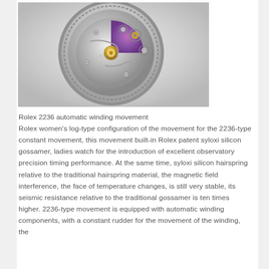[Figure (photo): Close-up photograph of a Rolex 2236 automatic winding watch movement, showing the intricate mechanical components including the rotor, gears, and silicon hairspring, placed on a reflective surface against a light gray background.]
Rolex 2236 automatic winding movement
Rolex women’s log-type configuration of the movement for the 2236-type constant movement, this movement built-in Rolex patent syloxi silicon gossamer, ladies watch for the introduction of excellent observatory precision timing performance. At the same time, syloxi silicon hairspring relative to the traditional hairspring material, the magnetic field interference, the face of temperature changes, is still very stable, its seismic resistance relative to the traditional gossamer is ten times higher. 2236-type movement is equipped with automatic winding components, with a constant rudder for the movement of the winding, the